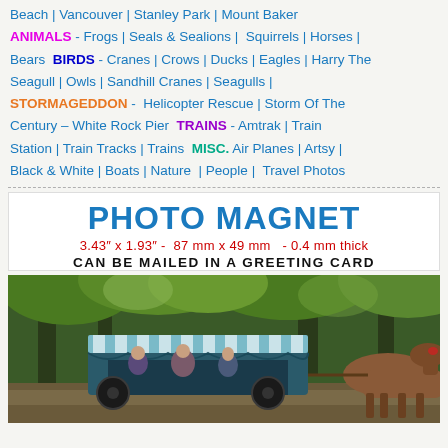Beach | Vancouver | Stanley Park | Mount Baker  ANIMALS - Frogs | Seals & Sealions | Squirrels | Horses | Bears  BIRDS - Cranes | Crows | Ducks | Eagles | Harry The Seagull | Owls | Sandhill Cranes | Seagulls | STORMAGEDDON - Helicopter Rescue | Storm Of The Century – White Rock Pier  TRAINS - Amtrak | Train Station | Train Tracks | Trains  MISC. Air Planes | Artsy | Black & White | Boats | Nature | People | Travel Photos
PHOTO MAGNET
3.43″ x 1.93″ - 87 mm x 49 mm - 0.4 mm thick
CAN BE MAILED IN A GREETING CARD
[Figure (photo): A horse-drawn carriage with striped awning canopy in a forested park setting, trees with green foliage in background, people seated in carriage]